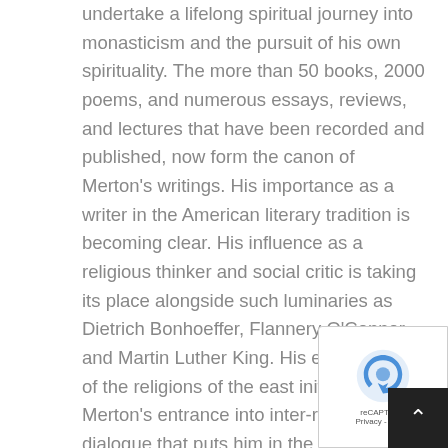undertake a lifelong spiritual journey into monasticism and the pursuit of his own spirituality. The more than 50 books, 2000 poems, and numerous essays, reviews, and lectures that have been recorded and published, now form the canon of Merton's writings. His importance as a writer in the American literary tradition is becoming clear. His influence as a religious thinker and social critic is taking its place alongside such luminaries as Dietrich Bonhoeffer, Flannery O'Connor, and Martin Luther King. His explorations of the religions of the east initiated Merton's entrance into inter-religious dialogue that puts him in the pioneering forefront of worldwide ecumenical movements. Merton died